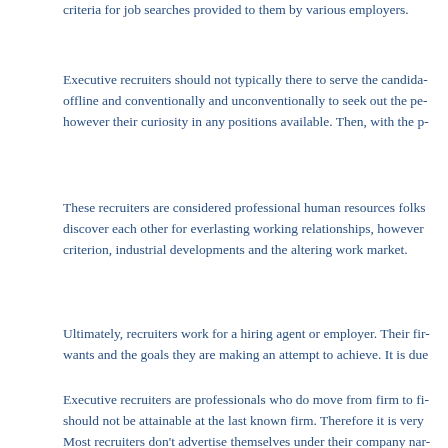criteria for job searches provided to them by various employers.
Executive recruiters should not typically there to serve the candidates offline and conventionally and unconventionally to seek out the pe- however their curiosity in any positions available. Then, with the p-
These recruiters are considered professional human resources folks discover each other for everlasting working relationships, however criterion, industrial developments and the altering work market.
Ultimately, recruiters work for a hiring agent or employer. Their fir- wants and the goals they are making an attempt to achieve. It is due
Executive recruiters are professionals who do move from firm to fi- should not be attainable at the last known firm. Therefore it is very Most recruiters don't advertise themselves under their company nar- potential candidates to take care of continued contact with the recru-